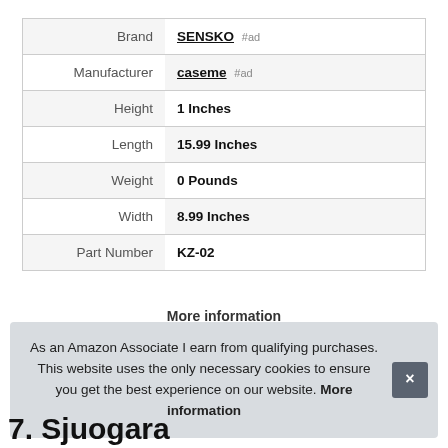|  |  |
| --- | --- |
| Brand | SENSKO #ad |
| Manufacturer | caseme #ad |
| Height | 1 Inches |
| Length | 15.99 Inches |
| Weight | 0 Pounds |
| Width | 8.99 Inches |
| Part Number | KZ-02 |
More information
As an Amazon Associate I earn from qualifying purchases. This website uses the only necessary cookies to ensure you get the best experience on our website. More information
7. Sjuogara